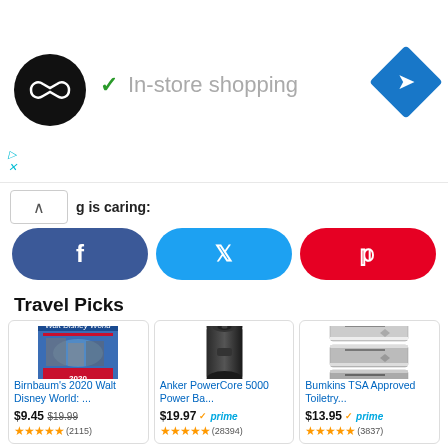[Figure (screenshot): Ad banner with circular logo, In-store shopping text with checkmark, and blue diamond navigation icon]
g is caring:
[Figure (infographic): Three social sharing buttons: Facebook (dark blue), Twitter (light blue), Pinterest (red)]
Travel Picks
[Figure (photo): Birnbaum's 2020 Walt Disney World guidebook cover]
Birnbaum's 2020 Walt Disney World: ...
$9.45 $19.99 ★★★★★ (2115)
[Figure (photo): Anker PowerCore 5000 portable battery charger, black cylindrical]
Anker PowerCore 5000 Power Ba...
$19.97 prime ★★★★★ (28394)
[Figure (photo): Bumkins TSA Approved Toiletry bags, clear with pattern]
Bumkins TSA Approved Toiletry...
$13.95 prime ★★★★★ (3837)